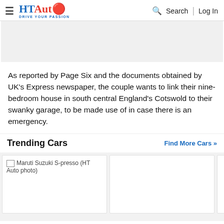HT Auto - Drive Your Passion | Search | Log In
[Figure (other): Gray advertisement banner placeholder]
As reported by Page Six and the documents obtained by UK's Express newspaper, the couple wants to link their nine-bedroom house in south central England's Cotswold to their swanky garage, to be made use of in case there is an emergency.
Trending Cars
[Figure (photo): Maruti Suzuki S-presso (HT Auto photo) - car card image placeholder]
[Figure (photo): Second car card - image not loaded]
[Figure (photo): Third car card partial - image not loaded]